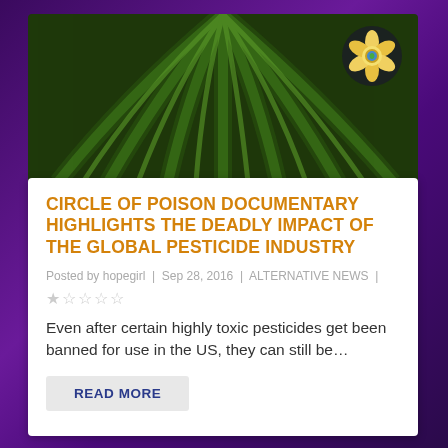[Figure (photo): Aerial view of green crop field rows with a circular logo badge in top right corner]
CIRCLE OF POISON DOCUMENTARY HIGHLIGHTS THE DEADLY IMPACT OF THE GLOBAL PESTICIDE INDUSTRY
Posted by hopegirl | Sep 28, 2016 | ALTERNATIVE NEWS |
Even after certain highly toxic pesticides get been banned for use in the US, they can still be…
READ MORE